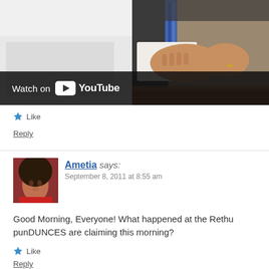[Figure (screenshot): YouTube video thumbnail showing a person's hands clasped on a desk, with a 'Watch on YouTube' overlay bar at the bottom]
Like
Reply
Ametia says: September 8, 2011 at 8:55 am
Good Morning, Everyone! What happened at the Rethu punDUNCES are claiming this morning?
Like
Reply
Ametia says: